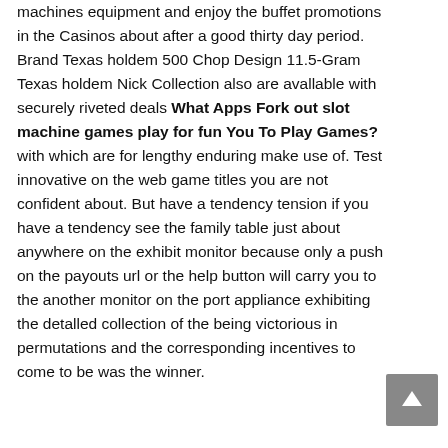machines equipment and enjoy the buffet promotions in the Casinos about after a good thirty day period. Brand Texas holdem 500 Chop Design 11.5-Gram Texas holdem Nick Collection also are avallable with securely riveted deals What Apps Fork out slot machine games play for fun You To Play Games? with which are for lengthy enduring make use of. Test innovative on the web game titles you are not confident about. But have a tendency tension if you have a tendency see the family table just about anywhere on the exhibit monitor because only a push on the payouts url or the help button will carry you to the another monitor on the port appliance exhibiting the detalled collection of the being victorious in permutations and the corresponding incentives to come to be was the winner.
[Figure (other): Scroll-to-top button: gray square button with white upward arrow]